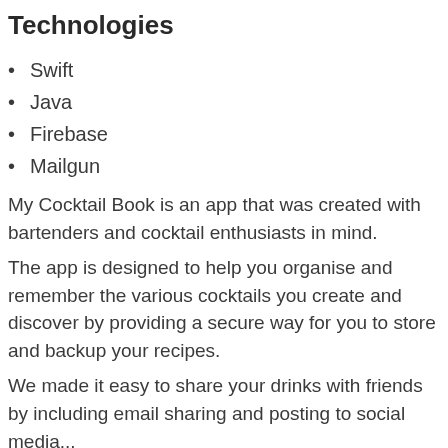Technologies
Swift
Java
Firebase
Mailgun
My Cocktail Book is an app that was created with bartenders and cocktail enthusiasts in mind.
The app is designed to help you organise and remember the various cocktails you create and discover by providing a secure way for you to store and backup your recipes.
We made it easy to share your drinks with friends by including email sharing and posting to social media...